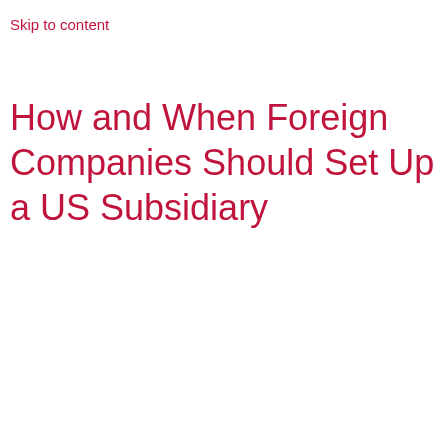Skip to content
How and When Foreign Companies Should Set Up a US Subsidiary